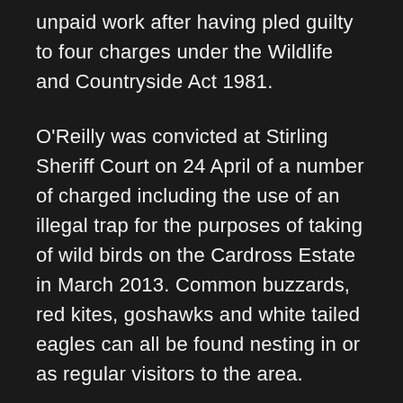unpaid work after having pled guilty to four charges under the Wildlife and Countryside Act 1981.
O'Reilly was convicted at Stirling Sheriff Court on 24 April of a number of charged including the use of an illegal trap for the purposes of taking of wild birds on the Cardross Estate in March 2013. Common buzzards, red kites, goshawks and white tailed eagles can all be found nesting in or as regular visitors to the area.
A man walking his dog on the estate, at a location known as Gartur came to an open area next to a pheasant pen where a distressed